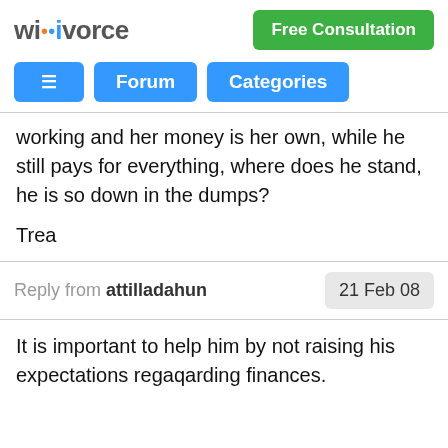wikivorce | Free Consultation
≡ Forum Categories
working and her money is her own, while he still pays for everything, where does he stand, he is so down in the dumps?
Trea
Reply from attilladahun | 21 Feb 08
It is important to help him by not raising his expectations regaqarding finances.